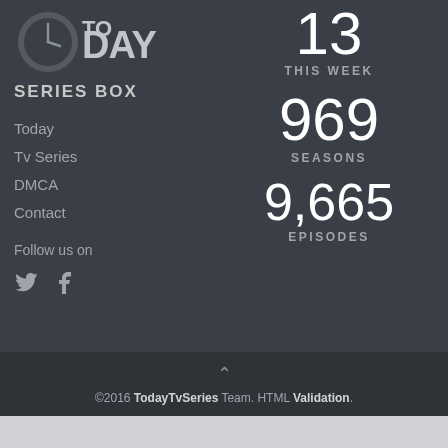[Figure (logo): Today TV Series logo - stylized 'TODAY' with a clock/globe icon]
SERIES BOX
Today
Tv Series
DMCA
Contact
Follow us on
[Figure (illustration): Twitter and Facebook social media icons]
13 THIS WEEK
969 SEASONS
9,665 EPISODES
©2016 TodayTvSeries Team. HTML Validation.